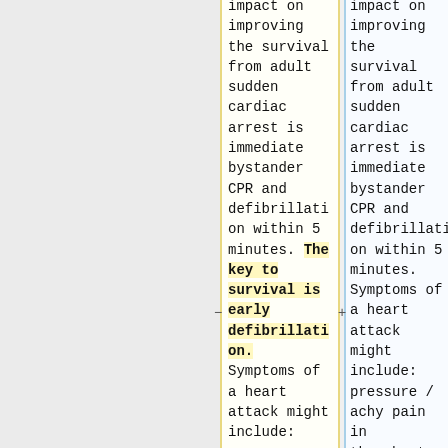impact on improving the survival from adult sudden cardiac arrest is immediate bystander CPR and defibrillation within 5 minutes. The key to survival is early defibrillation. Symptoms of a heart attack might include:
impact on improving the survival from adult sudden cardiac arrest is immediate bystander CPR and defibrillation within 5 minutes. Symptoms of a heart attack might include: pressure / achy pain in the chest, back (between the